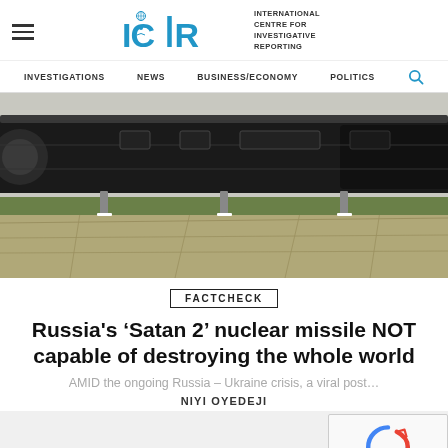ICIR - International Centre for Investigative Reporting
[Figure (screenshot): Website navigation bar with menu items: INVESTIGATIONS, NEWS, BUSINESS/ECONOMY, POLITICS and search icon]
[Figure (photo): Photograph of large rocket or missile on outdoor display pad with green grass in background]
FACTCHECK
Russia's ‘Satan 2’ nuclear missile NOT capable of destroying the whole world
AMID the ongoing Russia – Ukraine crisis, a viral post…
NIYI OYEDEJI